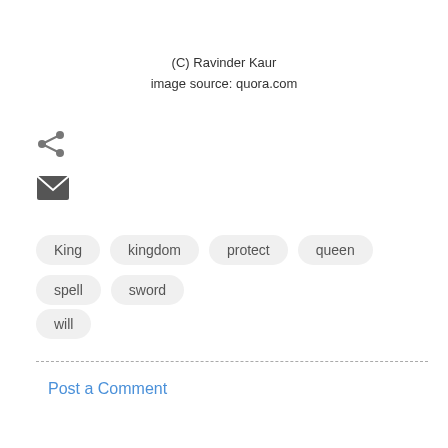(C) Ravinder Kaur
image source: quora.com
[Figure (illustration): Share icon (network share symbol)]
[Figure (illustration): Email icon (envelope symbol)]
King
kingdom
protect
queen
spell
sword
will
Post a Comment